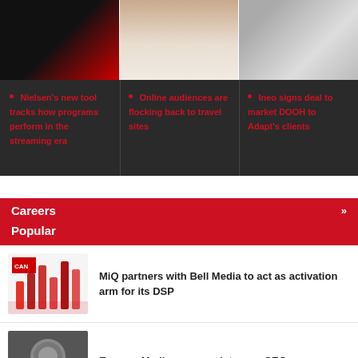[Figure (photo): Three news article thumbnail images side by side: left shows dark TV/streaming screen with red logo, center shows person in white dress, right shows tech device.]
Nielsen's new tool tracks how programs perform in the streaming era
Online audiences are flocking back to travel sites
Ineo signs deal to market DOOH to Adapt's clients
Careers
Popular
MiQ partners with Bell Media to act as activation arm for its DSP
EssenceMediacom appoints new CEO
Bell Media launches workplace review after LaFlamme departure